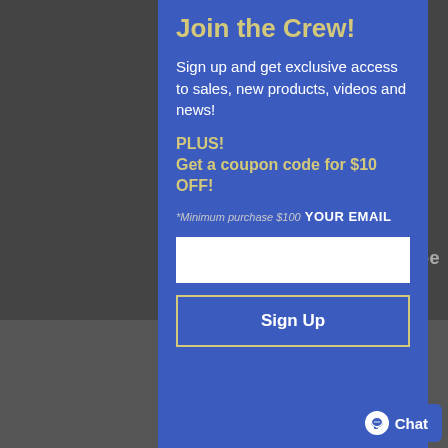Join the Crew!
Sign up and get exclusive access to sales, new products, videos and news!
PLUS!
Get a coupon code for $10 OFF!
*Minimum purchase $100
YOUR EMAIL
Sign Up
Chat